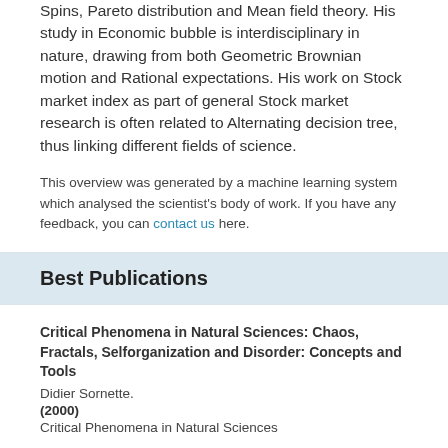Spins, Pareto distribution and Mean field theory. His study in Economic bubble is interdisciplinary in nature, drawing from both Geometric Brownian motion and Rational expectations. His work on Stock market index as part of general Stock market research is often related to Alternating decision tree, thus linking different fields of science.
This overview was generated by a machine learning system which analysed the scientist's body of work. If you have any feedback, you can contact us here.
Best Publications
Critical Phenomena in Natural Sciences: Chaos, Fractals, Selforganization and Disorder: Concepts and Tools
Didier Sornette.
(2000)
Critical Phenomena in Natural Sciences